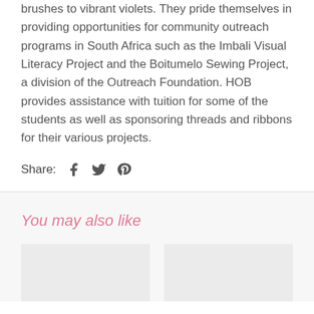brushes to vibrant violets. They pride themselves in providing opportunities for community outreach programs in South Africa such as the Imbali Visual Literacy Project and the Boitumelo Sewing Project, a division of the Outreach Foundation. HOB provides assistance with tuition for some of the students as well as sponsoring threads and ribbons for their various projects.
Share: [Facebook icon] [Twitter icon] [Pinterest icon]
You may also like
[Figure (other): Two product image placeholders shown as light gray rectangles side by side]